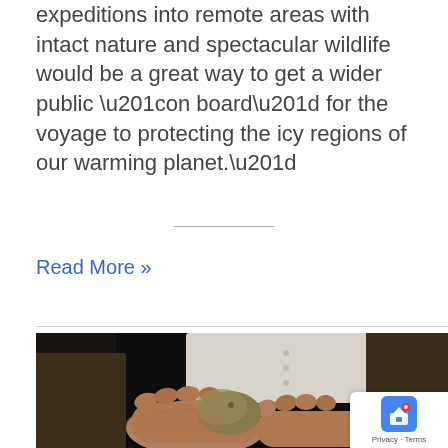expeditions into remote areas with intact nature and spectacular wildlife would be a great way to get a wider public “on board” for the voyage to protecting the icy regions of our warming planet.”
Read More »
[Figure (photo): Close-up photograph of aged hands holding a potato, person wearing a white shirt and brown tweed jacket, dark background.]